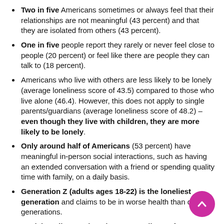Two in five Americans sometimes or always feel that their relationships are not meaningful (43 percent) and that they are isolated from others (43 percent).
One in five people report they rarely or never feel close to people (20 percent) or feel like there are people they can talk to (18 percent).
Americans who live with others are less likely to be lonely (average loneliness score of 43.5) compared to those who live alone (46.4). However, this does not apply to single parents/guardians (average loneliness score of 48.2) – even though they live with children, they are more likely to be lonely.
Only around half of Americans (53 percent) have meaningful in-person social interactions, such as having an extended conversation with a friend or spending quality time with family, on a daily basis.
Generation Z (adults ages 18-22) is the loneliest generation and claims to be in worse health than older generations.
Social media use alone is not a predictor of loneliness: